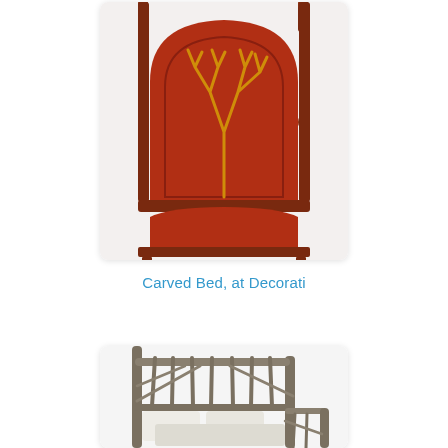[Figure (photo): Photo of a red carved wood four-poster bed with tree branch motif on the headboard]
Carved Bed, at Decorati
[Figure (photo): Photo of a rustic twig/branch style bed frame with white pillows and bedding, viewed from an angle]